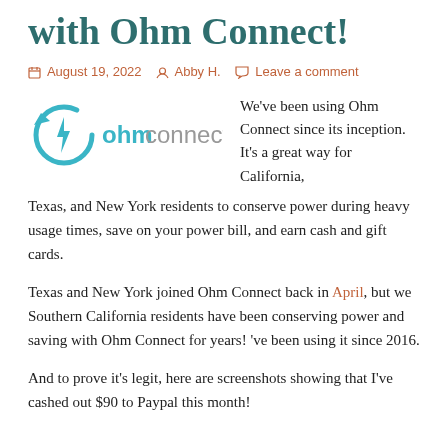with Ohm Connect!
August 19, 2022  Abby H.  Leave a comment
[Figure (logo): OhmConnect logo: teal circular arrow with lightning bolt icon, followed by 'ohmconnect' text in teal/grey]
We've been using Ohm Connect since its inception. It's a great way for California, Texas, and New York residents to conserve power during heavy usage times, save on your power bill, and earn cash and gift cards.
Texas and New York joined Ohm Connect back in April, but we Southern California residents have been conserving power and saving with Ohm Connect for years! 've been using it since 2016.
And to prove it's legit, here are screenshots showing that I've cashed out $90 to Paypal this month!